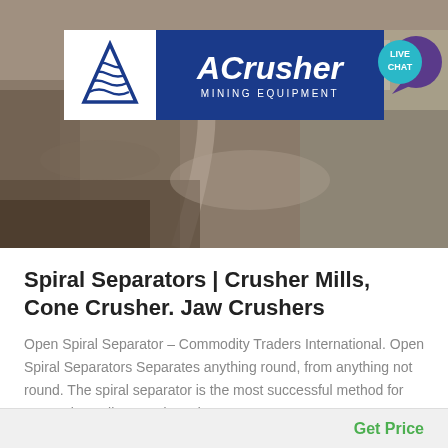[Figure (photo): Mining quarry aerial photo with ACrusher Mining Equipment logo banner. A white triangle logo on the left, blue rectangle with 'ACrusher MINING EQUIPMENT' text in the center. A teal/purple 'LIVE CHAT' speech bubble icon on the right.]
Spiral Separators | Crusher Mills, Cone Crusher. Jaw Crushers
Open Spiral Separator – Commodity Traders International. Open Spiral Separators Separates anything round, from anything not round. The spiral separator is the most successful method for separating splits, weed seed, or .
Get Price